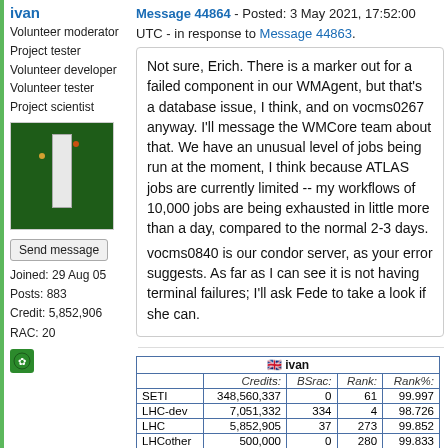ivan
Volunteer moderator
Project tester
Volunteer developer
Volunteer tester
Project scientist
[Figure (photo): Avatar photo of user ivan showing a green circuit board with a white vertical component/chip]
Send message
Joined: 29 Aug 05
Posts: 883
Credit: 5,852,906
RAC: 20
Message 44864 - Posted: 3 May 2021, 17:52:00 UTC - in response to Message 44863.
Not sure, Erich. There is a marker out for a failed component in our WMAgent, but that's a database issue, I think, and on vocms0267 anyway. I'll message the WMCore team about that. We have an unusual level of jobs being run at the moment, I think because ATLAS jobs are currently limited -- my workflows of 10,000 jobs are being exhausted in little more than a day, compared to the normal 2-3 days.
vocms0840 is our condor server, as your error suggests. As far as I can see it is not having terminal failures; I'll ask Fede to take a look if she can.
|  | Credits: | BSrac: | Rank: | Rank%: |
| --- | --- | --- | --- | --- |
| SETI | 348,560,337 | 0 | 61 | 99.997 |
| LHC-dev | 7,051,332 | 334 | 4 | 98.726 |
| LHC | 5,852,905 | 37 | 273 | 99.852 |
| LHCother | 500,000 | 0 | 280 | 99.833 |